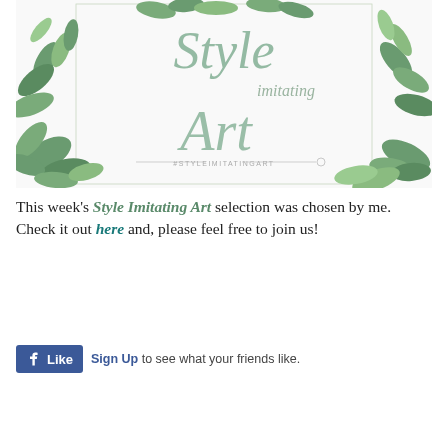[Figure (illustration): Decorative watercolor botanical illustration with green leaves forming a wreath/border. In the center is cursive/calligraphy text reading 'Style imitating Art' with hashtag '#STYLEIMITATINART' below.]
This week's Style Imitating Art selection was chosen by me. Check it out here and, please feel free to join us!
[Figure (other): Facebook Like button widget with thumbs up icon and text 'Like', followed by 'Sign Up to see what your friends like.']